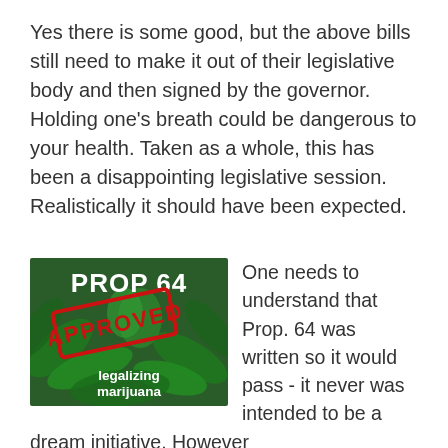Yes there is some good, but the above bills still need to make it out of their legislative body and then signed by the governor. Holding one's breath could be dangerous to your health. Taken as a whole, this has been a disappointing legislative session. Realistically it should have been expected.
[Figure (illustration): Prop 64 approved stamp image over cannabis plant background, with text 'PROP 64', 'APPROVED' in red stamp style, and 'legalizing marijuana' below]
One needs to understand that Prop. 64 was written so it would pass - it never was intended to be a dream initiative. However it contained the seed of a dream initiative with the unusual section that allows it to be amended.